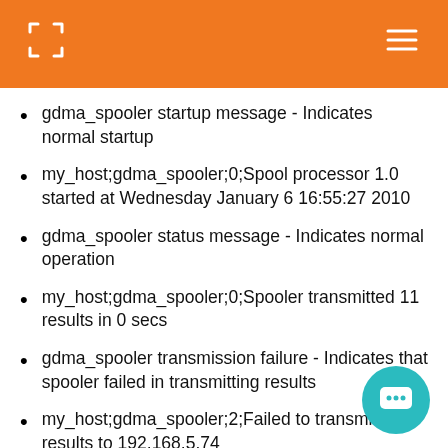gdma_spooler startup message - Indicates normal startup
my_host;gdma_spooler;0;Spool processor 1.0 started at Wednesday January 6 16:55:27 2010
gdma_spooler status message - Indicates normal operation
my_host;gdma_spooler;0;Spooler transmitted 11 results in 0 secs
gdma_spooler transmission failure - Indicates that spooler failed in transmitting results
my_host;gdma_spooler;2;Failed to transmit 1 results to 192.168.5.74
gdma_spooler purge message - Indicates that results are being expired from the spool
my_host;gdma_spooler;1;Retention timer 999